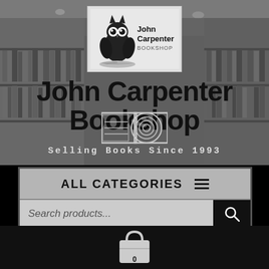[Figure (screenshot): John Carpenter Bookshop website screenshot showing bookshelf background, owl logo, store name, tagline, navigation bar with ALL CATEGORIES menu, search bar, and shopping cart icon]
John Carpenter Bookshop
Selling Books Since 1993
ALL CATEGORIES
Search products...